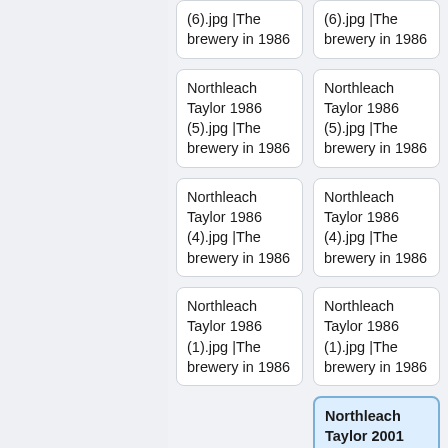(6).jpg |The brewery in 1986
(6).jpg |The brewery in 1986
Northleach Taylor 1986 (5).jpg |The brewery in 1986
Northleach Taylor 1986 (5).jpg |The brewery in 1986
Northleach Taylor 1986 (4).jpg |The brewery in 1986
Northleach Taylor 1986 (4).jpg |The brewery in 1986
Northleach Taylor 1986 (1).jpg |The brewery in 1986
Northleach Taylor 1986 (1).jpg |The brewery in 1986
Northleach Taylor 2001 (12).jpg|The brewery in 2001
Northleach